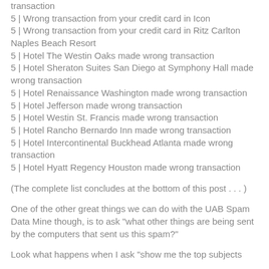transaction
5 | Wrong transaction from your credit card in Icon
5 | Wrong transaction from your credit card in Ritz Carlton Naples Beach Resort
5 | Hotel The Westin Oaks made wrong transaction
5 | Hotel Sheraton Suites San Diego at Symphony Hall made wrong transaction
5 | Hotel Renaissance Washington made wrong transaction
5 | Hotel Jefferson made wrong transaction
5 | Hotel Westin St. Francis made wrong transaction
5 | Hotel Rancho Bernardo Inn made wrong transaction
5 | Hotel Intercontinental Buckhead Atlanta made wrong transaction
5 | Hotel Hyatt Regency Houston made wrong transaction
(The complete list concludes at the bottom of this post . . . )
One of the other great things we can do with the UAB Spam Data Mine though, is to ask "what other things are being sent by the computers that sent us this spam?"
Look what happens when I ask "show me the top subjects